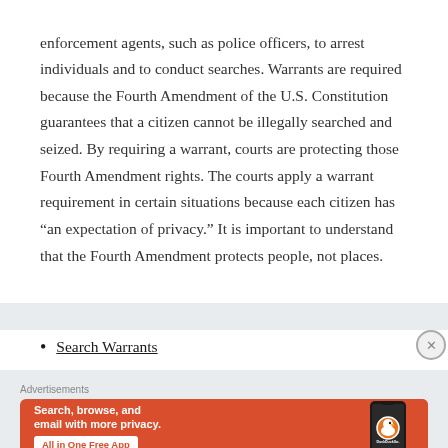enforcement agents, such as police officers, to arrest individuals and to conduct searches. Warrants are required because the Fourth Amendment of the U.S. Constitution guarantees that a citizen cannot be illegally searched and seized. By requiring a warrant, courts are protecting those Fourth Amendment rights. The courts apply a warrant requirement in certain situations because each citizen has “an expectation of privacy.” It is important to understand that the Fourth Amendment protects people, not places.
Search Warrants
[Figure (other): DuckDuckGo advertisement banner: orange background with text 'Search, browse, and email with more privacy. All in One Free App' and a phone graphic showing DuckDuckGo logo.]